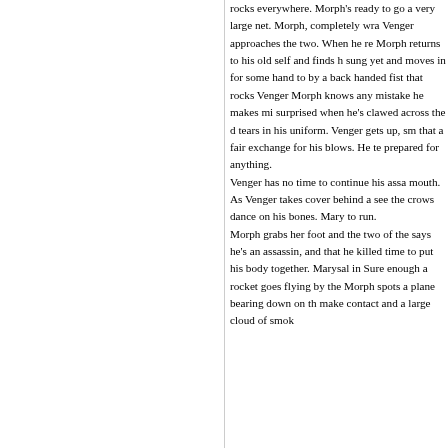rocks everywhere. Morph's ready to go a very large net. Morph, completely wra Venger approaches the two. When he re Morph returns to his old self and finds h sung yet and moves in for some hand to by a back handed fist that rocks Venger Morph knows any mistake he makes mi surprised when he's clawed across the tears in his uniform. Venger gets up, sm that a fair exchange for his blows. He te prepared for anything. Venger has no time to continue his assa mouth. As Venger takes cover behind a see the crows dance on his bones. Mary to run. Morph grabs her foot and the two of the says he's an assassin, and that he killed time to put his body together. Marysal in Sure enough a rocket goes flying by the Morph spots a plane bearing down on th make contact and a large cloud of smok